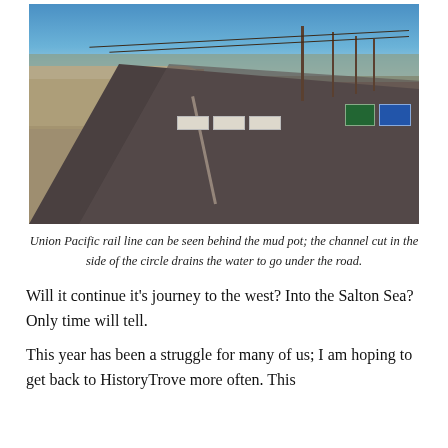[Figure (photo): A desert road with concrete barriers across it, rocky rubble on the left side, utility poles with wires in the background, blue sky, and signs visible on the right. The Union Pacific rail line area near a mud pot.]
Union Pacific rail line can be seen behind the mud pot; the channel cut in the side of the circle drains the water to go under the road.
Will it continue it’s journey to the west? Into the Salton Sea? Only time will tell.
This year has been a struggle for many of us; I am hoping to get back to HistoryTrove more often. This